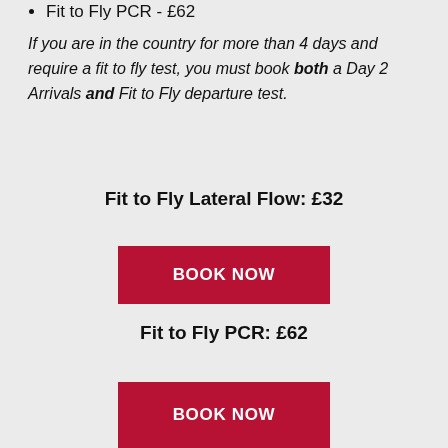Fit to Fly PCR - £62
If you are in the country for more than 4 days and require a fit to fly test, you must book both a Day 2 Arrivals and Fit to Fly departure test.
Fit to Fly Lateral Flow: £32
BOOK NOW
Fit to Fly PCR: £62
BOOK NOW